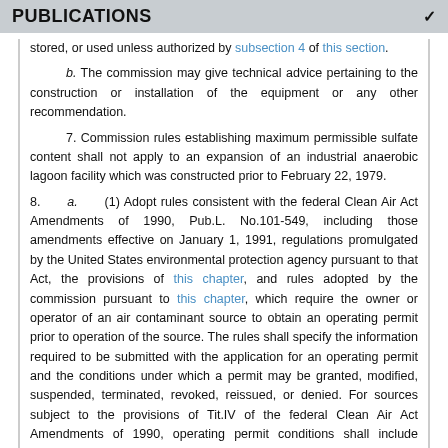PUBLICATIONS
stored, or used unless authorized by subsection 4 of this section.
b.  The commission may give technical advice pertaining to the construction or installation of the equipment or any other recommendation.
7.  Commission rules establishing maximum permissible sulfate content shall not apply to an expansion of an industrial anaerobic lagoon facility which was constructed prior to February 22, 1979.
8.    a.    (1)  Adopt rules consistent with the federal Clean Air Act Amendments of 1990, Pub.L. No.101-549, including those amendments effective on January 1, 1991, regulations promulgated by the United States environmental protection agency pursuant to that Act, the provisions of this chapter, and rules adopted by the commission pursuant to this chapter, which require the owner or operator of an air contaminant source to obtain an operating permit prior to operation of the source. The rules shall specify the information required to be submitted with the application for an operating permit and the conditions under which a permit may be granted, modified, suspended, terminated, revoked, reissued, or denied. For sources subject to the provisions of Tit.IV of the federal Clean Air Act Amendments of 1990, operating permit conditions shall include emission allowances for sulfur dioxide emissions.
(2)    (a)  The commission may establish fees to be imposed and collected by the department, including operating permit application fees and fees upon regulated pollutants emitted from an air contaminant source, in an amount sufficient to cover, on a state fiscal year basis as described in section